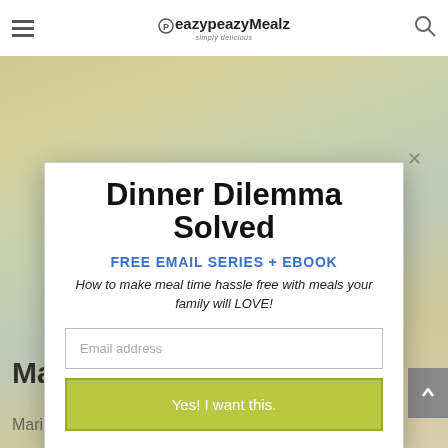eazypeazyMealz simply delicious
[Figure (screenshot): Website popup modal on eazypeazyMealz food blog. Background shows blurred food images. Modal contains title 'Dinner Dilemma Solved', free email series offer, email input field, and submit button.]
Dinner Dilemma Solved
FREE EMAIL SERIES + EBOOK
How to make meal time hassle free with meals your family will LOVE!
Email address
Yes! I want this.
Marinating Tips.
Marinating isn't a hard process, especially